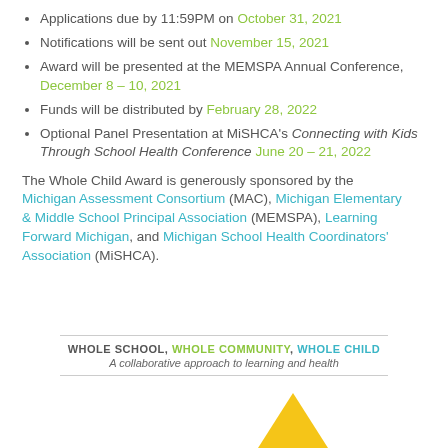Applications due by 11:59PM on October 31, 2021
Notifications will be sent out November 15, 2021
Award will be presented at the MEMSPA Annual Conference, December 8 – 10, 2021
Funds will be distributed by February 28, 2022
Optional Panel Presentation at MiSHCA's Connecting with Kids Through School Health Conference June 20 – 21, 2022
The Whole Child Award is generously sponsored by the Michigan Assessment Consortium (MAC), Michigan Elementary & Middle School Principal Association (MEMSPA), Learning Forward Michigan, and Michigan School Health Coordinators' Association (MiSHCA).
WHOLE SCHOOL, WHOLE COMMUNITY, WHOLE CHILD — A collaborative approach to learning and health